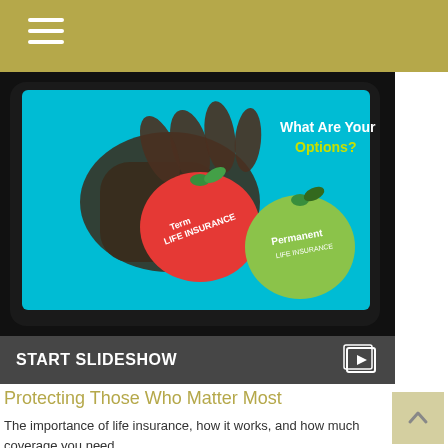[Figure (screenshot): Screenshot of a tablet showing a life insurance slideshow with red apple labeled 'Term Life Insurance' and green apple labeled 'Permanent Life Insurance', text reads 'What Are Your Options?']
START SLIDESHOW
Protecting Those Who Matter Most
The importance of life insurance, how it works, and how much coverage you need.